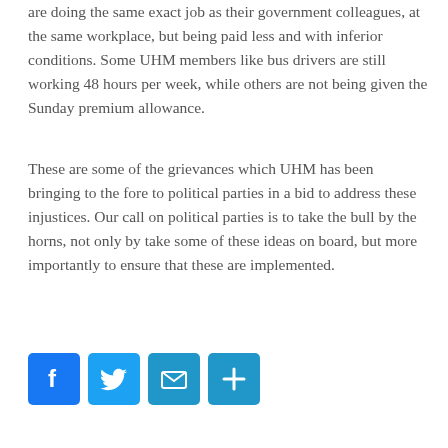are doing the same exact job as their government colleagues, at the same workplace, but being paid less and with inferior conditions. Some UHM members like bus drivers are still working 48 hours per week, while others are not being given the Sunday premium allowance.
These are some of the grievances which UHM has been bringing to the fore to political parties in a bid to address these injustices. Our call on political parties is to take the bull by the horns, not only by take some of these ideas on board, but more importantly to ensure that these are implemented.
[Figure (infographic): Four social media sharing icons in a row: Facebook (blue), Twitter (light blue), Email (medium blue), Share/Plus (medium blue)]